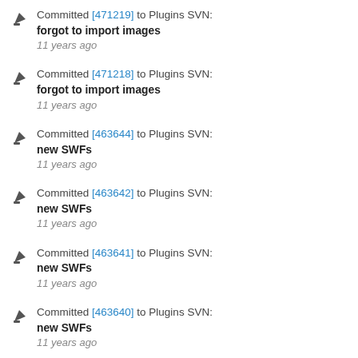Committed [471219] to Plugins SVN: forgot to import images 11 years ago
Committed [471218] to Plugins SVN: forgot to import images 11 years ago
Committed [463644] to Plugins SVN: new SWFs 11 years ago
Committed [463642] to Plugins SVN: new SWFs 11 years ago
Committed [463641] to Plugins SVN: new SWFs 11 years ago
Committed [463640] to Plugins SVN: new SWFs 11 years ago
Committed [463639] to Plugins SVN: